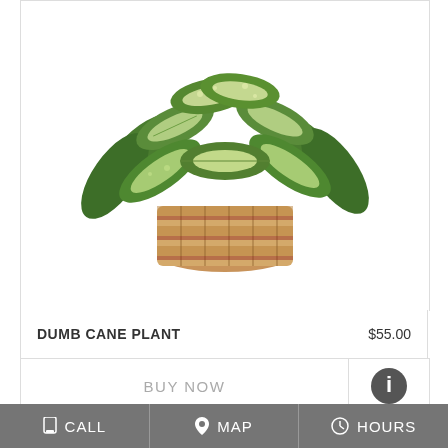[Figure (photo): Dumb Cane plant with green and white variegated leaves in a woven basket planter]
DUMB CANE PLANT    $55.00
BUY NOW
[Figure (photo): Large green tropical plant leaves (rubber plant / ficus) shown from above]
CALL   MAP   HOURS